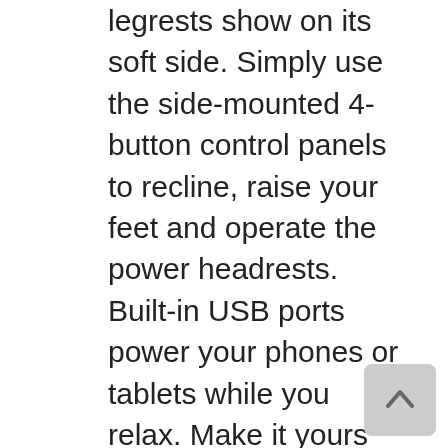legrests show on its soft side. Simply use the side-mounted 4-button control panels to recline, raise your feet and operate the power headrests. Built-in USB ports power your phones or tablets while you relax. Make it yours with your choice of fabrics and available upgrades.
Updated, modern styleDual side-mounted control panelsBoth the left and right seats recline at the touch of a buttonPower headrests for optimum comfort and supportBuilt-in USB ports power your smartphones or tabletsStructured, angled armsPadded outside armsArm pads wrap up from the bottom, over the arm post, to the seatUltra-plush chaise seats and legrestsTall pillow back provides excellent head supportLower back pulls with vertical and horizontal seamsHandsome topstitching detailsCustomizable with your choice of fabrics and other upgradesSpecifications: